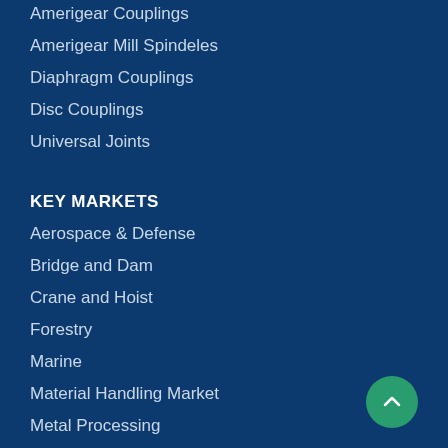Amerigear Couplings
Amerigear Mill Spindeles
Diaphragm Couplings
Disc Couplings
Universal Joints
KEY MARKETS
Aerospace & Defense
Bridge and Dam
Crane and Hoist
Forestry
Marine
Material Handling Market
Metal Processing
Metal Producer